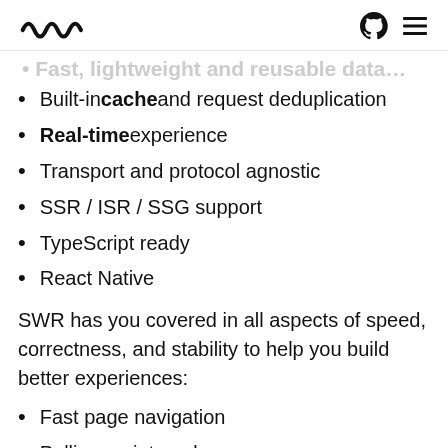SWR logo, GitHub icon, menu icon
Fast, lightweight and reusable data…
Built-in cache and request deduplication
Real-time experience
Transport and protocol agnostic
SSR / ISR / SSG support
TypeScript ready
React Native
SWR has you covered in all aspects of speed, correctness, and stability to help you build better experiences:
Fast page navigation
Polling on interval
Data dependency